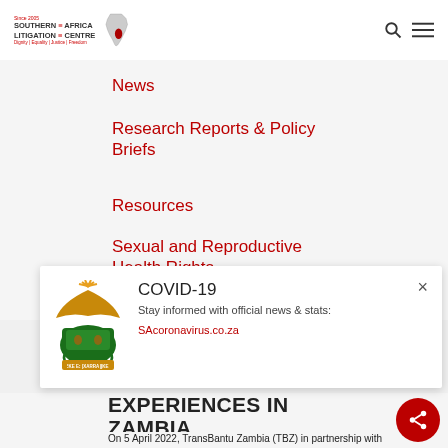Southern Africa Litigation Centre — Since 2005 | Dignity | Equality | Justice | Freedom
News
Research Reports & Policy Briefs
Resources
Sexual and Reproductive Health Rights
[Figure (infographic): COVID-19 popup notification with South African government coat of arms, title 'COVID-19', subtitle 'Stay informed with official news & stats:', and link 'SAcoronavirus.co.za'. Close button (×) in top right.]
EXPERIENCES IN ZAMBIA
On 5 April 2022, TransBantu Zambia (TBZ) in partnership with Southern Africa Litigation Centre (SALC) launched a research report on